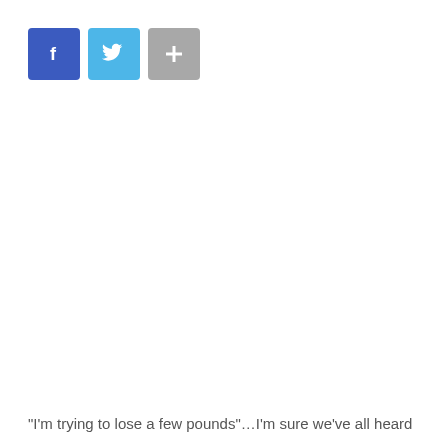[Figure (other): Three social share buttons: Facebook (dark blue with 'f' icon), Twitter (light blue with bird icon), and a plus/share button (gray with '+' icon)]
“I’m trying to lose a few pounds”…I’m sure we’ve all heard